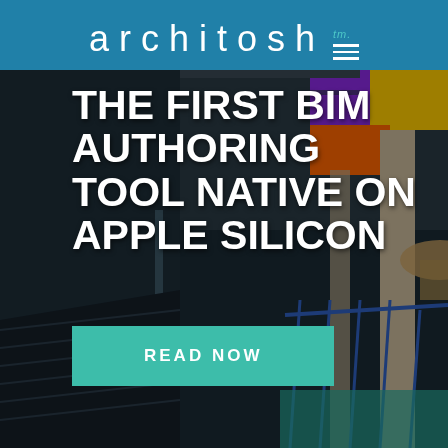architosh™ ≡
[Figure (photo): Background photo of a modern architectural interior with stairs, glass railings, and colorful decor, overlaid with dark tint]
THE FIRST BIM AUTHORING TOOL NATIVE ON APPLE SILICON
READ NOW